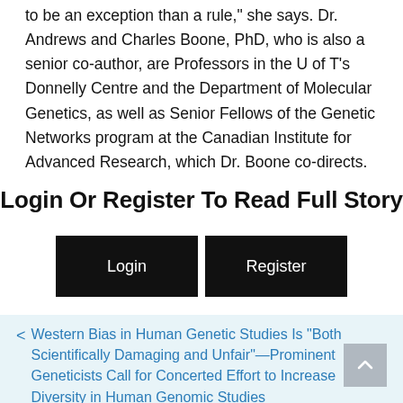to be an exception than a rule," she says. Dr. Andrews and Charles Boone, PhD, who is also a senior co-author, are Professors in the U of T's Donnelly Centre and the Department of Molecular Genetics, as well as Senior Fellows of the Genetic Networks program at the Canadian Institute for Advanced Research, which Dr. Boone co-directs.
Login Or Register To Read Full Story
Login | Register
< Western Bias in Human Genetic Studies Is "Both Scientifically Damaging and Unfair"—Prominent Geneticists Call for Concerted Effort to Increase Diversity in Human Genomic Studies
> Synthetic Peptide (TNF-Derived TIP Peptide)